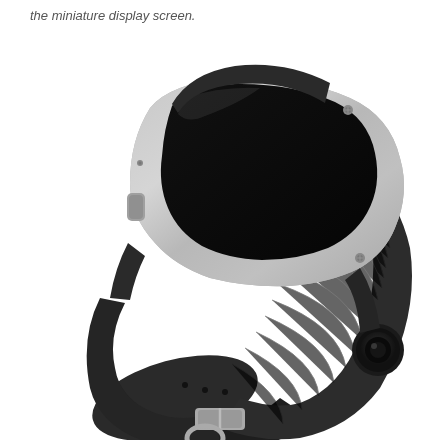the miniature display screen.
[Figure (photo): A Samsung Galaxy Gear smartwatch photographed in three-quarter view against a white background. The watch has a rectangular silver-framed case with a black display screen, a dark gray/black rubber wrist band with textured ribbing, silver hardware including screws on the case and a buckle clasp on the band, a side button on the left edge of the case, and a circular camera lens embedded in the right side of the band.]